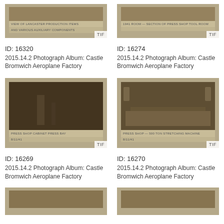[Figure (photo): Partial view of archival photograph from Castle Bromwich Aeroplane Factory, Lancaster production items and auxiliary components, TIF format]
ID: 16320
2015.14.2 Photograph Album: Castle Bromwich Aeroplane Factory
[Figure (photo): Partial view of archival photograph from Castle Bromwich Aeroplane Factory, section of press shop tool room, TIF format]
ID: 16274
2015.14.2 Photograph Album: Castle Bromwich Aeroplane Factory
[Figure (photo): Full archival photograph of press shop cabinet press bay interior, dark industrial scene, Castle Bromwich Aeroplane Factory, TIF format]
ID: 16269
2015.14.2 Photograph Album: Castle Bromwich Aeroplane Factory
[Figure (photo): Full archival photograph of press shop with stretching machine and workers, Castle Bromwich Aeroplane Factory, TIF format]
ID: 16270
2015.14.2 Photograph Album: Castle Bromwich Aeroplane Factory
[Figure (photo): Partial bottom view of archival photograph from Castle Bromwich Aeroplane Factory]
[Figure (photo): Partial bottom view of archival photograph from Castle Bromwich Aeroplane Factory]